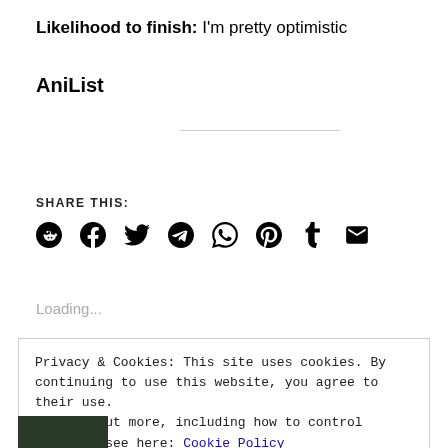Likelihood to finish: I'm pretty optimistic
AniList
SHARE THIS:
[Figure (infographic): Social sharing icons: Reddit, Facebook, Twitter, Telegram, WhatsApp, Pinterest, Tumblr, Email]
Loading...
Privacy & Cookies: This site uses cookies. By continuing to use this website, you agree to their use.
To find out more, including how to control cookies, see here: Cookie Policy
Close and accept